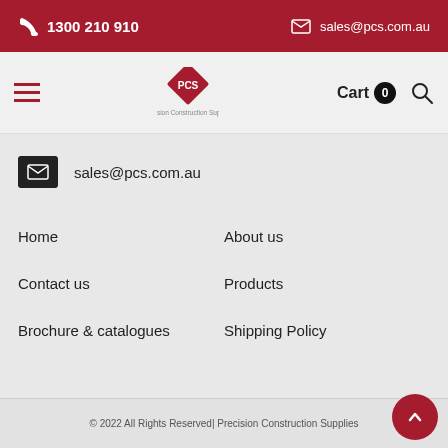1300 210 910 | sales@pcs.com.au
[Figure (logo): PCS Precision Construction Supplies logo - red diamond with PCS text]
sales@pcs.com.au
Home
About us
Contact us
Products
Brochure & catalogues
Shipping Policy
© 2022 All Rights Reserved| Precision Construction Supplies